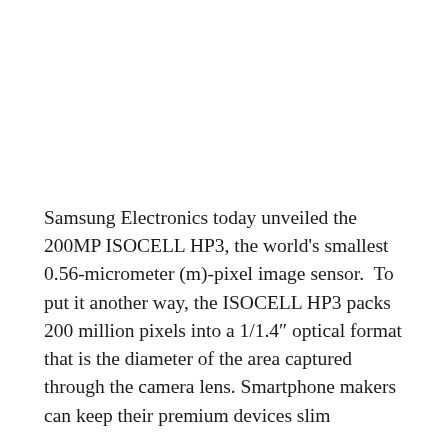Samsung Electronics today unveiled the 200MP ISOCELL HP3, the world's smallest 0.56-micrometer (m)-pixel image sensor.  To put it another way, the ISOCELL HP3 packs 200 million pixels into a 1/1.4″ optical format that is the diameter of the area captured through the camera lens. Smartphone makers can keep their premium devices slim